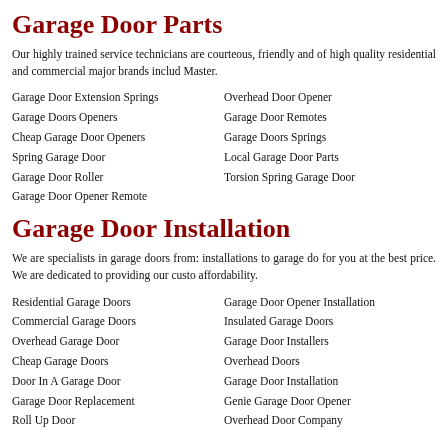Garage Door Parts
Our highly trained service technicians are courteous, friendly and of high quality residential and commercial major brands includ Master.
Garage Door Extension Springs
Garage Doors Openers
Cheap Garage Door Openers
Spring Garage Door
Garage Door Roller
Garage Door Opener Remote
Overhead Door Opener
Garage Door Remotes
Garage Doors Springs
Local Garage Door Parts
Torsion Spring Garage Door
Garage Door Installation
We are specialists in garage doors from: installations to garage do for you at the best price. We are dedicated to providing our custo affordability.
Residential Garage Doors
Commercial Garage Doors
Overhead Garage Door
Cheap Garage Doors
Door In A Garage Door
Garage Door Replacement
Roll Up Door
Garage Door Opener Installation
Insulated Garage Doors
Garage Door Installers
Overhead Doors
Garage Door Installation
Genie Garage Door Opener
Overhead Door Company